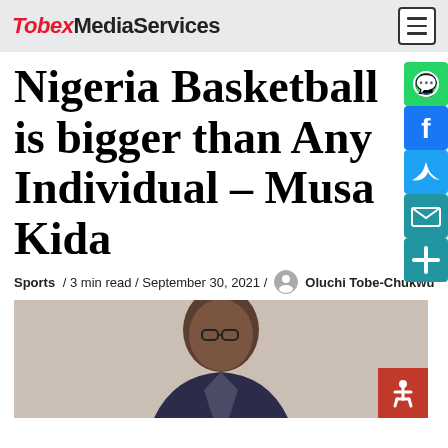TobexMediaServices
Nigeria Basketball is bigger than Any Individual – Musa Kida
Sports / 3 min read / September 30, 2021 / Oluchi Tobe-Chukwu
[Figure (photo): Photo of a man wearing glasses and a dark suit jacket, seated or standing against a light background.]